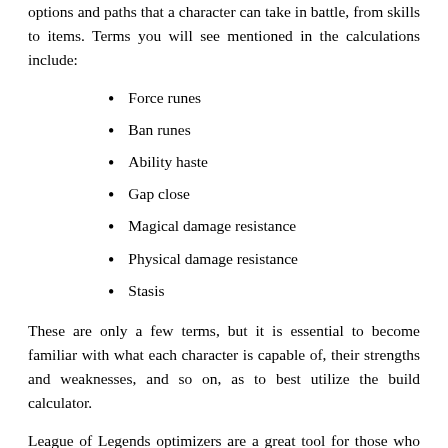options and paths that a character can take in battle, from skills to items. Terms you will see mentioned in the calculations include:
Force runes
Ban runes
Ability haste
Gap close
Magical damage resistance
Physical damage resistance
Stasis
These are only a few terms, but it is essential to become familiar with what each character is capable of, their strengths and weaknesses, and so on, as to best utilize the build calculator.
League of Legends optimizers are a great tool for those who have already established builds that they enjoy using and want to improve, or want to learn more about strategizing and creating builds form scratch. LoL optimizers take your current build or builds and compare builds to each other. Build optimizers also allow you to